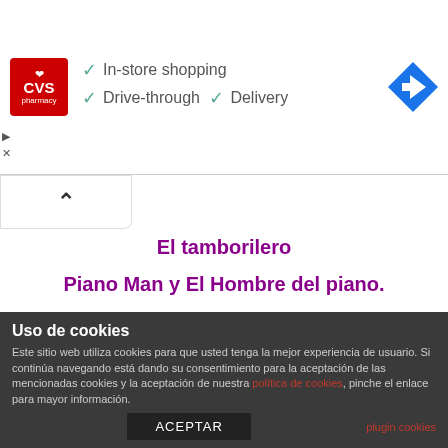[Figure (infographic): CVS Pharmacy advertisement banner showing red CVS pharmacy logo, checkmarks for In-store shopping, Drive-through, and Delivery services, and a blue navigation/directions icon on the right.]
El tamborilero
Piano Man y El Hombre del piano.
What´s love got to do with it
Crazy
Gladiator BSO
Fly me to the moon
Al Alba
Uso de cookies
Este sitio web utiliza cookies para que usted tenga la mejor experiencia de usuario. Si continúa navegando está dando su consentimiento para la aceptación de las mencionadas cookies y la aceptación de nuestra política de cookies, pinche el enlace para mayor información.
plugin cookies